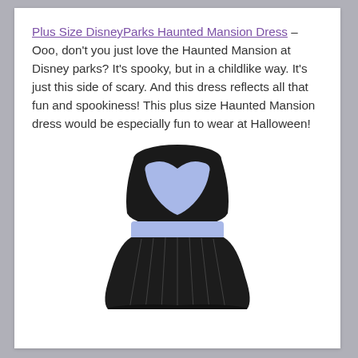Plus Size DisneyParks Haunted Mansion Dress – Ooo, don't you just love the Haunted Mansion at Disney parks? It's spooky, but in a childlike way. It's just this side of scary. And this dress reflects all that fun and spookiness! This plus size Haunted Mansion dress would be especially fun to wear at Halloween!
[Figure (photo): A plus size Haunted Mansion dress with a black bodice overlay, light periwinkle/lavender sweetheart inner bodice, and a full black pleated skirt with subtle silver pinstripes.]